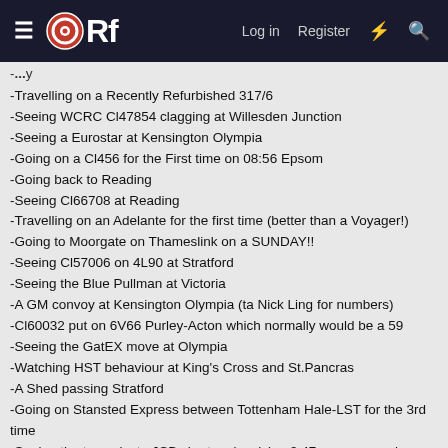ORf  Log in  Register
-Travelling on a Recently Refurbished 317/6
-Seeing WCRC Cl47854 clagging at Willesden Junction
-Seeing a Eurostar at Kensington Olympia
-Going on a Cl456 for the First time on 08:56 Epsom
-Going back to Reading
-Seeing Cl66708 at Reading
-Travelling on an Adelante for the first time (better than a Voyager!)
-Going to Moorgate on Thameslink on a SUNDAY!!
-Seeing Cl57006 on 4L90 at Stratford
-Seeing the Blue Pullman at Victoria
-A GM convoy at Kensington Olympia (ta Nick Ling for numbers)
-Cl60032 put on 6V66 Purley-Acton which normally would be a 59
-Seeing the GatEX move at Olympia
-Watching HST behaviour at King's Cross and St.Pancras
-A Shed passing Stratford
-Going on Stansted Express between Tottenham Hale-LST for the 3rd time
-Seeing the two private JCB charters involving 3 47s on one, and a 67019 on the other
-Going on Heathrow Express all the way to Terminal 4
-Booking on Gatwick to Olympia